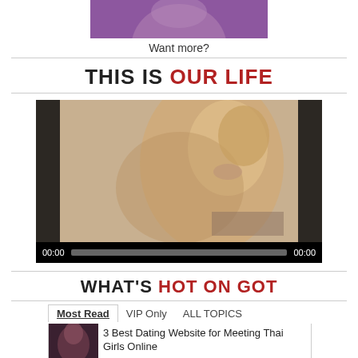[Figure (photo): Partial view of a woman in purple lingerie, cropped at top]
Want more?
THIS IS OUR LIFE
[Figure (screenshot): Video player showing a woman in a bikini posing, with playback controls showing 00:00 and 00:00]
WHAT'S HOT ON GOT
Most Read  VIP Only  ALL TOPICS
3 Best Dating Website for Meeting Thai Girls Online